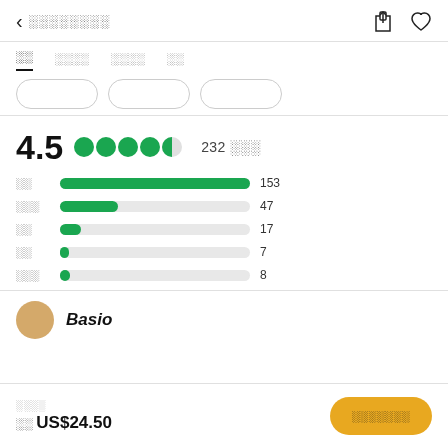< ░░░░░░░░
░░  ░░░░  ░░░░  ░░
4.5  ●●●●◑  232 ░░░
[Figure (bar-chart): Rating distribution]
Basio
░░░░
░░ US$24.50
░░░░░░░